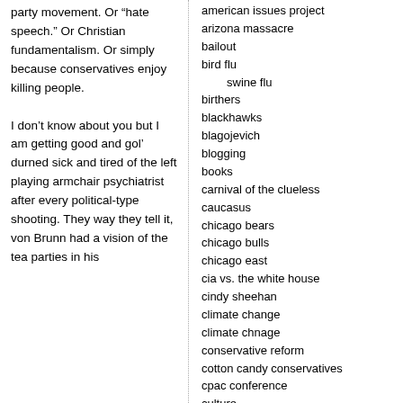party movement. Or "hate speech." Or Christian fundamentalism. Or simply because conservatives enjoy killing people.

I don't know about you but I am getting good and gol' durned sick and tired of the left playing armchair psychiatrist after every political-type shooting. They way they tell it, von Brunn had a vision of the tea parties in his
american issues project
arizona massacre
bailout
bird flu
swine flu
birthers
blackhawks
blagojevich
blogging
books
carnival of the clueless
caucasus
chicago bears
chicago bulls
chicago east
cia vs. the white house
cindy sheehan
climate change
climate chnage
conservative reform
cotton candy conservatives
cpac conference
culture
debt ceiling
decision '08
decision 2010
decision 2012
deficit reduction
election '06
entitlement crisis
environment
ethics
fairness doctrine